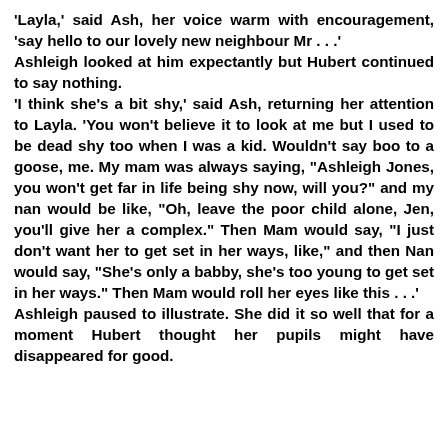'Layla,' said Ash, her voice warm with encouragement, 'say hello to our lovely new neighbour Mr . . .'
Ashleigh looked at him expectantly but Hubert continued to say nothing.
'I think she's a bit shy,' said Ash, returning her attention to Layla. 'You won't believe it to look at me but I used to be dead shy too when I was a kid. Wouldn't say boo to a goose, me. My mam was always saying, "Ashleigh Jones, you won't get far in life being shy now, will you?" and my nan would be like, "Oh, leave the poor child alone, Jen, you'll give her a complex." Then Mam would say, "I just don't want her to get set in her ways, like," and then Nan would say, "She's only a babby, she's too young to get set in her ways." Then Mam would roll her eyes like this . . .'
Ashleigh paused to illustrate. She did it so well that for a moment Hubert thought her pupils might have disappeared for good.